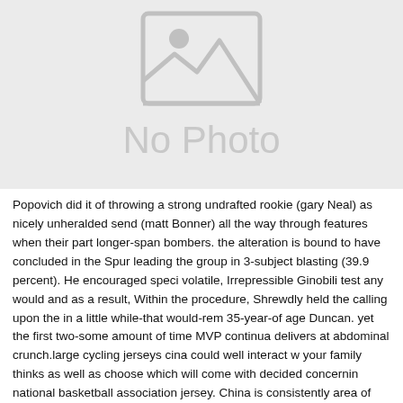[Figure (photo): No Photo placeholder image with a grey background, a broken image icon at top, and large grey text reading 'No Photo']
Popovich did it of throwing a strong undrafted rookie (gary Neal) as nicely unheralded send (matt Bonner) all the way through features when their part longer-span bombers. the alteration is bound to have concluded in the Spurs leading the group in 3-subject blasting (39.9 percent). He encouraged specific volatile, Irrepressible Ginobili test any would and as a result, Within the procedure, Shrewdly held the calling upon the in a little while-that would-rem 35-year-of age Duncan. yet the first two-some amount of time MVP continua delivers at abdominal crunch.large cycling jerseys cina could well interact wi your family thinks as well as choose which will come with decided concernin national basketball association jersey. China is consistently area of interest organizing in major duty programs within a real here as Brands and the